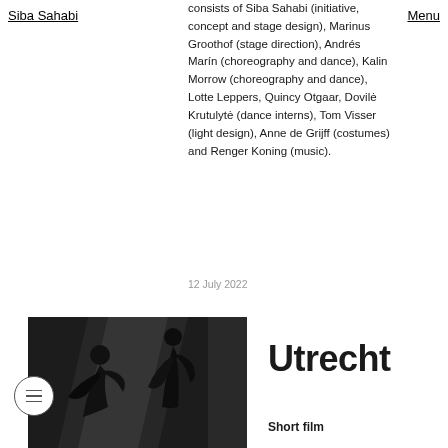Siba Sahabi
consists of Siba Sahabi (initiative, concept and stage design), Marinus Groothof (stage direction), Andrés Marín (choreography and dance), Kalin Morrow (choreography and dance), Lotte Leppers, Quincy Otgaar, Dovilė Krutulytė (dance interns), Tom Visser (light design), Anne de Grijff (costumes) and Renger Koning (music).
12 July 2022
[Figure (photo): Black and white photo of two dancers in motion, shot dramatically with strong lighting contrast]
Utrecht
Short film